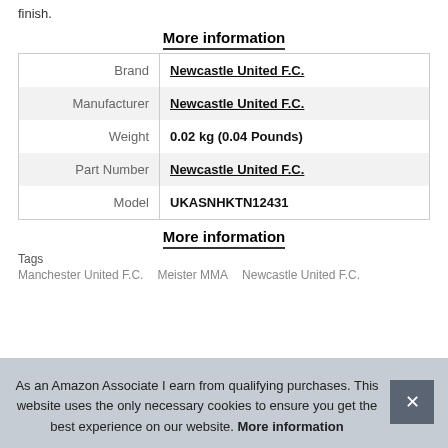finish.
More information
|  |  |
| --- | --- |
| Brand | Newcastle United F.C. |
| Manufacturer | Newcastle United F.C. |
| Weight | 0.02 kg (0.04 Pounds) |
| Part Number | Newcastle United F.C. |
| Model | UKASNHKTN12431 |
More information
Tags
Manchester United F.C.   Meister MMA   Newcastle United F.C.
As an Amazon Associate I earn from qualifying purchases. This website uses the only necessary cookies to ensure you get the best experience on our website. More information